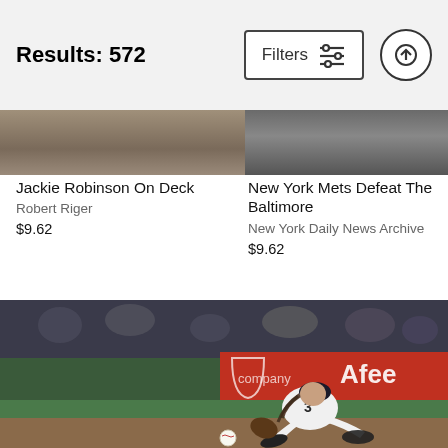Results: 572
[Figure (photo): Partial view of two sports photos at top of page - left shows Jackie Robinson On Deck image, right shows New York Mets Defeat The Baltimore image]
Jackie Robinson On Deck
Robert Riger
$9.62
New York Mets Defeat The Baltimore
New York Daily News Archive
$9.62
[Figure (photo): Baseball player in San Francisco Giants white uniform (#3) fielding a ground ball, lunging forward with glove near the grass, wearing black SF Giants cap with long hair. Orange advertising billboard in background reading 'Afee'. Ball visible on the ground in front of glove.]